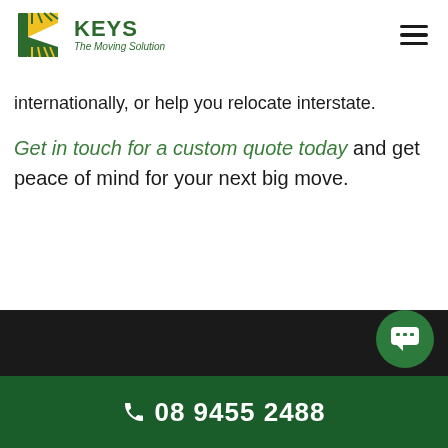[Figure (logo): Keys The Moving Solution logo with diagonal striped K icon in yellow/green and green text]
internationally, or help you relocate interstate.
Get in touch for a custom quote today and get peace of mind for your next big move.
08 9455 2488